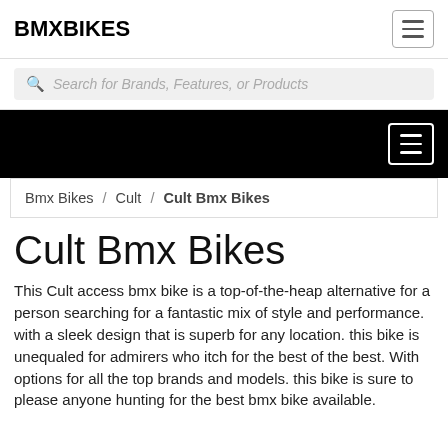BMXBIKES
Search for Brands, Features, or Products
[Figure (screenshot): Black hero navigation bar with hamburger menu icon (white lines on dark background)]
Bmx Bikes / Cult / Cult Bmx Bikes
Cult Bmx Bikes
This Cult access bmx bike is a top-of-the-heap alternative for a person searching for a fantastic mix of style and performance. with a sleek design that is superb for any location. this bike is unequaled for admirers who itch for the best of the best. With options for all the top brands and models. this bike is sure to please anyone hunting for the best bmx bike available.